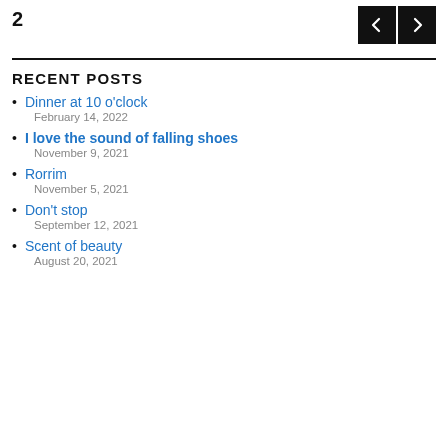2
RECENT POSTS
Dinner at 10 o'clock
February 14, 2022
I love the sound of falling shoes
November 9, 2021
Rorrim
November 5, 2021
Don't stop
September 12, 2021
Scent of beauty
August 20, 2021